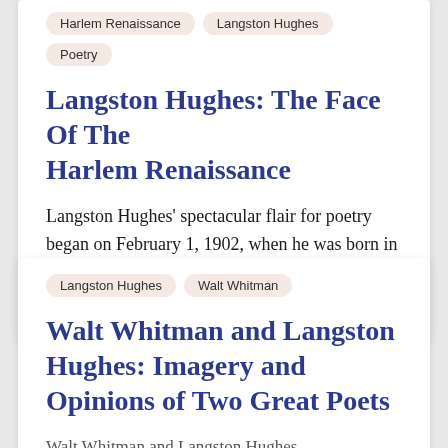Harlem Renaissance
Langston Hughes
Poetry
Langston Hughes: The Face Of The Harlem Renaissance
Langston Hughes' spectacular flair for poetry began on February 1, 1902, when he was born in the small town of Joplin,...
887 Words  |  2 Pages
Langston Hughes
Walt Whitman
Walt Whitman and Langston Hughes: Imagery and Opinions of Two Great Poets